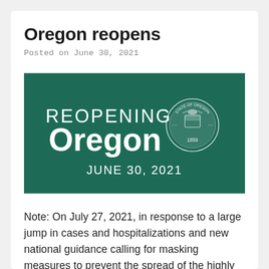Oregon reopens
Posted on June 30, 2021
[Figure (illustration): Dark teal/green banner image with white text reading 'REOPENING Oregon' with the Oregon State Seal and 'JUNE 30, 2021' below]
Note: On July 27, 2021, in response to a large jump in cases and hospitalizations and new national guidance calling for masking measures to prevent the spread of the highly